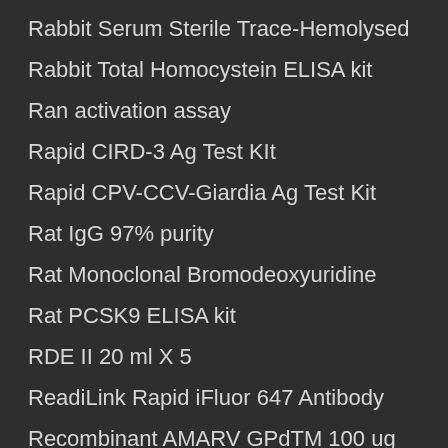Rabbit Serum Sterile Trace-Hemolysed
Rabbit Total Homocystein ELISA kit
Ran activation assay
Rapid CIRD-3 Ag Test KIt
Rapid CPV-CCV-Giardia Ag Test Kit
Rat IgG 97% purity
Rat Monoclonal Bromodeoxyuridine
Rat PCSK9 ELISA kit
RDE II 20 ml X 5
ReadiLink Rapid iFluor 647 Antibody
Recombinant AMARV GPdTM 100 ug
Recombinant H. Influenzae protein D